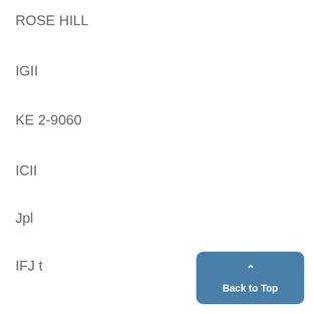ROSE HILL
IGII
KE 2-9060
ICII
Jpl
IFJ t
ID